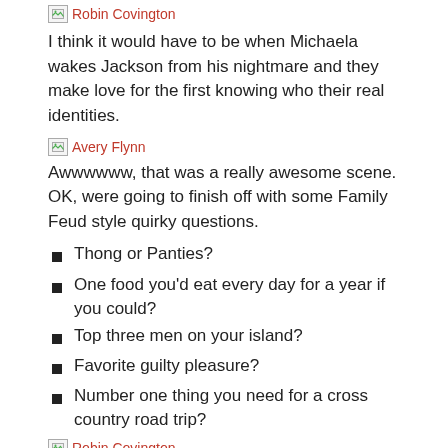[Figure (illustration): Broken image placeholder labeled 'Robin Covington' in red text]
I think it would have to be when Michaela wakes Jackson from his nightmare and they make love for the first knowing who their real identities.
[Figure (illustration): Broken image placeholder labeled 'Avery Flynn' in red text]
Awwwwww, that was a really awesome scene. OK, were going to finish off with some Family Feud style quirky questions.
Thong or Panties?
One food you'd eat every day for a year if you could?
Top three men on your island?
Favorite guilty pleasure?
Number one thing you need for a cross country road trip?
[Figure (illustration): Broken image placeholder labeled 'Robin Covington' in red text]